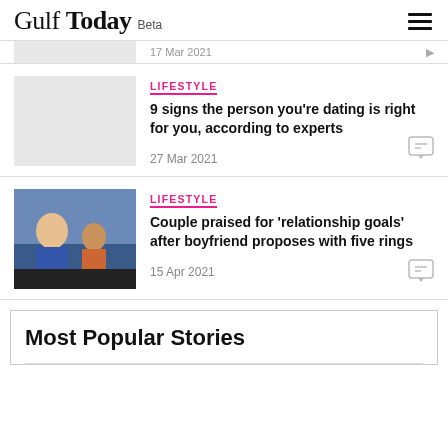Gulf Today Beta
27 Mar 2021
LIFESTYLE
9 signs the person you're dating is right for you, according to experts
27 Mar 2021
LIFESTYLE
Couple praised for 'relationship goals' after boyfriend proposes with five rings
15 Apr 2021
Most Popular Stories